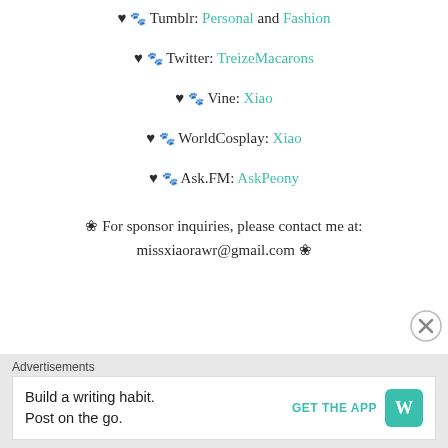♥ 🐾 Tumblr: Personal and Fashion
♥ 🐾 Twitter: TreizeMacarons
♥ 🐾 Vine: Xiao
♥ 🐾 WorldCosplay: Xiao
♥ 🐾 Ask.FM: AskPeony
❀ For sponsor inquiries, please contact me at: missxiaorawr@gmail.com ❀
Advertisements
Build a writing habit. Post on the go. GET THE APP